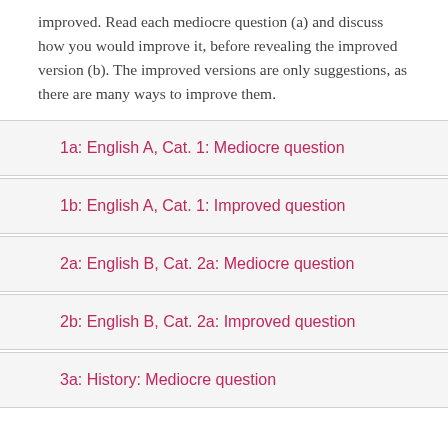improved. Read each mediocre question (a) and discuss how you would improve it, before revealing the improved version (b). The improved versions are only suggestions, as there are many ways to improve them.
1a: English A, Cat. 1: Mediocre question
1b: English A, Cat. 1: Improved question
2a: English B, Cat. 2a: Mediocre question
2b: English B, Cat. 2a: Improved question
3a: History: Mediocre question